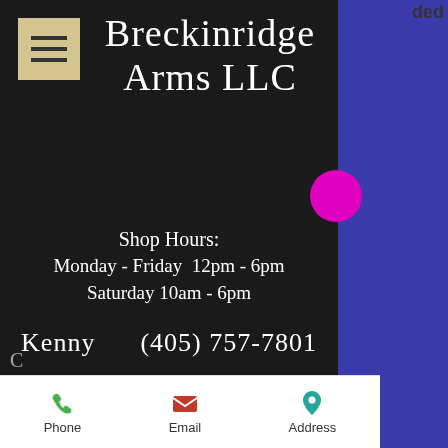Breckinridge Arms LLC
Shop Hours:
Monday - Friday  12pm - 6pm
Saturday 10am - 6pm
Kenny    (405) 757-7801
Send Us a Message
We appreciate all of you.
Please Text or Click Send Message Above.
I will write back as soon as I am free.
Cards cost, bring cash and save!
Phone  Email  Address